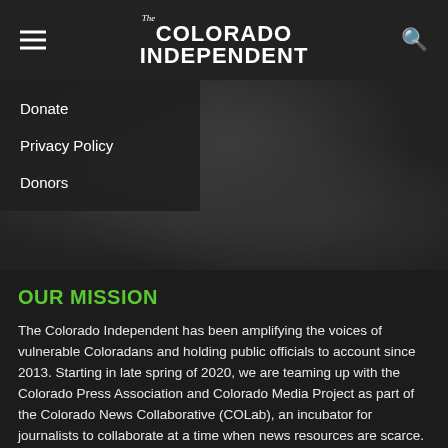The Colorado Independent
Donate
Privacy Policy
Donors
OUR MISSION
The Colorado Independent has been amplifying the voices of vulnerable Coloradans and holding public officials to account since 2013. Starting in late spring of 2020, we are teaming up with the Colorado Press Association and Colorado Media Project as part of the Colorado News Collaborative (COLab), an incubator for journalists to collaborate at a time when news resources are scarce. Our primary role is to work one-on-one with journalists in newsrooms statewide to help them report challenging stories they are unable to cover alone.